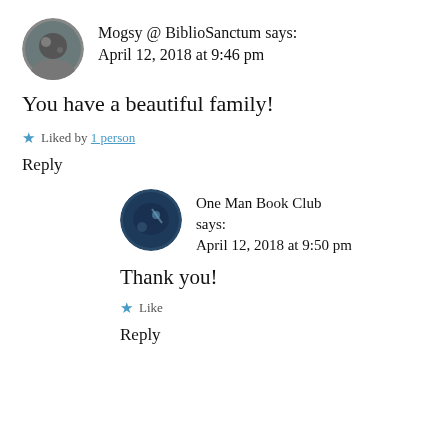Mogsy @ BiblioSanctum says: April 12, 2018 at 9:46 pm
You have a beautiful family!
★ Liked by 1 person
Reply
One Man Book Club says: April 12, 2018 at 9:50 pm
Thank you!
★ Like
Reply